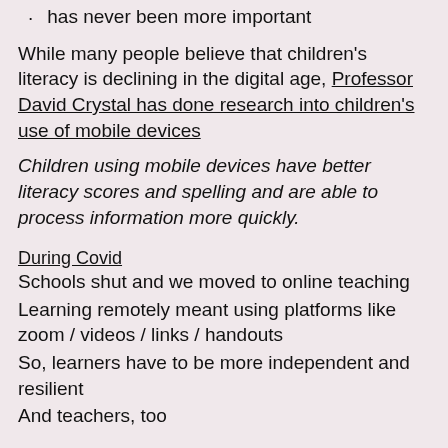has never been more important
While many people believe that children's literacy is declining in the digital age, Professor David Crystal has done research into children's use of mobile devices
Children using mobile devices have better literacy scores and spelling and are able to process information more quickly.
During Covid
Schools shut and we moved to online teaching
Learning remotely meant using platforms like zoom / videos / links / handouts
So, learners have to be more independent and resilient
And teachers, too